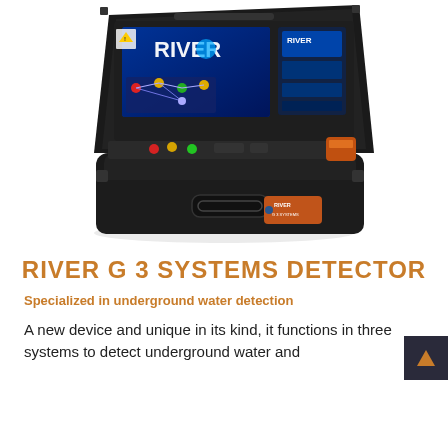[Figure (photo): A portable underground water detector device called RIVER G 3 SYSTEMS DETECTOR. It is a rugged black hard-shell case, open to show an integrated control panel with colored indicator lights (red, yellow, green), a display screen showing the RIVER logo and detection interface with a network/grid diagram, a smaller screen, and various controls and connectors. The RIVER brand logo is visible on the front of the closed lower case.]
RIVER G 3 SYSTEMS DETECTOR
Specialized in underground water detection
A new device and unique in its kind, it functions in three systems to detect underground water and